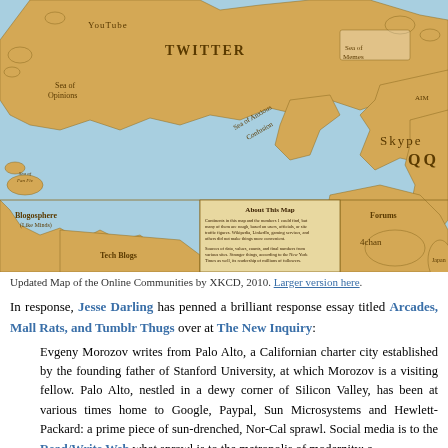[Figure (map): Updated Map of the Online Communities by XKCD, 2010. A stylized world map where landmasses represent online communities and services including YouTube, Twitter, Sea of Opinions, Sea of Memes, Skype, QQ, Blogosphere, Tech Blogs, Forums, 4chan, and others labeled in the style of antique cartography.]
Updated Map of the Online Communities by XKCD, 2010. Larger version here.
In response, Jesse Darling has penned a brilliant response essay titled Arcades, Mall Rats, and Tumblr Thugs over at The New Inquiry:
Evgeny Morozov writes from Palo Alto, a Californian charter city established by the founding father of Stanford University, at which Morozov is a visiting fellow. Palo Alto, nestled in a dewy corner of Silicon Valley, has been at various times home to Google, Paypal, Sun Microsystems and Hewlett-Packard: a prime piece of sun-drenched, Nor-Cal sprawl. Social media is to the Read/Write Web what sprawl is to the metropolis of modernity: a